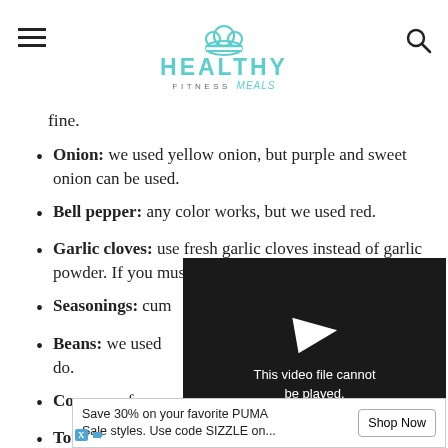HEALTHY FITNESS meals
fine.
Onion: we used yellow onion, but purple and sweet onion can be used.
Bell pepper: any color works, but we used red.
Garlic cloves: use fresh garlic cloves instead of garlic powder. If you must, you can use garlic pwder.
Seasonings: cum[partially obscured]
Beans: we used [partially obscured] do.
Corn: use frozen[partially obscured]
Tomato salsa: if y[partially obscured] on the spicy side[partially obscured]
Pic[partially obscured] e, you m[partially obscured]
[Figure (screenshot): Video player showing error: This video file cannot be played. (Error Code: 224003) on dark background with play arrow icon]
Save 30% on your favorite PUMA Sale styles. Use code SIZZLE on... Shop Now